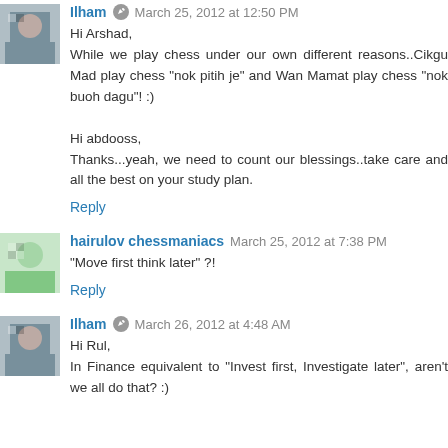Ilham · March 25, 2012 at 12:50 PM
Hi Arshad,
While we play chess under our own different reasons..Cikgu Mad play chess "nok pitih je" and Wan Mamat play chess "nok buoh dagu"! :)

Hi abdooss,
Thanks...yeah, we need to count our blessings..take care and all the best on your study plan.
Reply
hairulov chessmaniacs · March 25, 2012 at 7:38 PM
"Move first think later" ?!
Reply
Ilham · March 26, 2012 at 4:48 AM
Hi Rul,
In Finance equivalent to "Invest first, Investigate later", aren't we all do that? :)